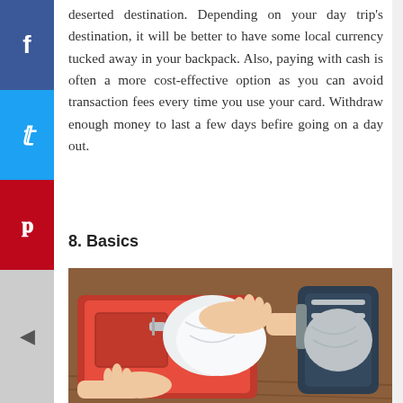deserted destination. Depending on your day trip's destination, it will be better to have some local currency tucked away in your backpack. Also, paying with cash is often a more cost-effective option as you can avoid transaction fees every time you use your card. Withdraw enough money to last a few days befire going on a day out.
8. Basics
[Figure (photo): A person packing a red suitcase or travel bag with clothing, with another bag visible to the right.]